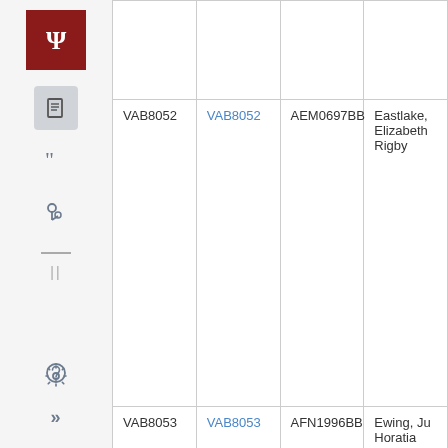[Figure (screenshot): University library catalog interface sidebar with IU logo and navigation icons]
|  |  |  |  |
| VAB8052 | VAB8052 | AEM0697BB | Eastlake, Elizabeth Rigby |
| VAB8053 | VAB8053 | AFN1996BB | Ewing, Ju Horatia |